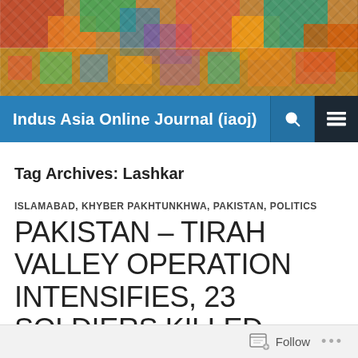[Figure (photo): Colorful traditional crafts and textiles, decorative items on display — header banner image for Indus Asia Online Journal]
Indus Asia Online Journal (iaoj)
Tag Archives: Lashkar
ISLAMABAD, KHYBER PAKHTUNKHWA, PAKISTAN, POLITICS
PAKISTAN – TIRAH VALLEY OPERATION INTENSIFIES, 23 SOLDIERS KILLED